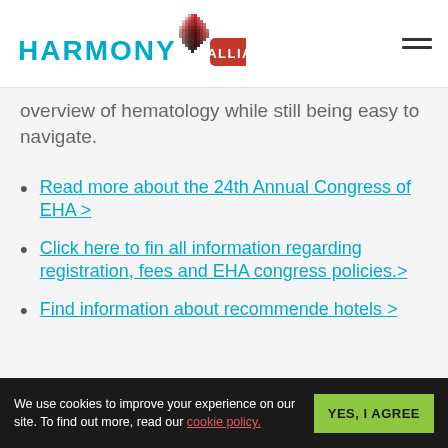HARMONY ALLIANCE
overview of hematology while still being easy to navigate.
Read more about the 24th Annual Congress of EHA >
Click here to fin all information regarding registration, fees and EHA congress policies.>
Find information about recommende hotels >
We use cookies to improve your experience on our site. To find out more, read our cookie policy. YES, I AGREE